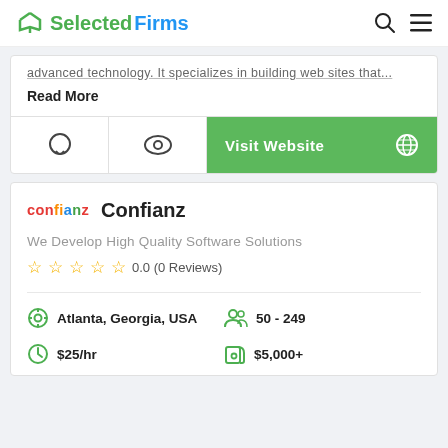SelectedFirms
advanced technology. It specializes in building web sites that...
Read More
Visit Website
Confianz
We Develop High Quality Software Solutions
0.0 (0 Reviews)
Atlanta, Georgia, USA
50 - 249
$25/hr
$5,000+